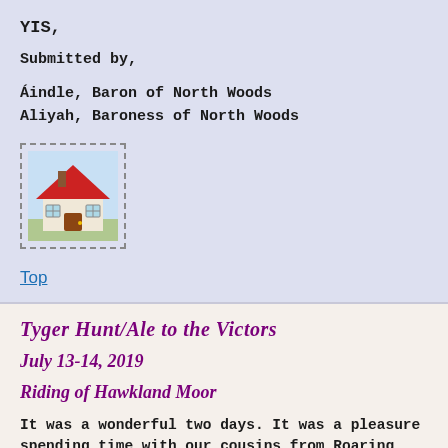YIS,
Submitted by,
Áindle, Baron of North Woods
Aliyah, Baroness of North Woods
[Figure (illustration): House emoji icon with red roof and brown door inside a dashed border box]
Top
Tyger Hunt/Ale to the Victors
July 13-14, 2019
Riding of Hawkland Moor
It was a wonderful two days. It was a pleasure spending time with our cousins from Roaring Wastes Eamon and Isabella as this will be their last Tyger Hunt and Ale to the Victors as Territorial Baron and Baroness. Those I spoke to visiting the demo